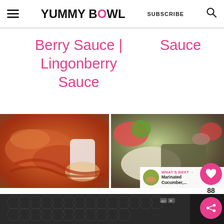YUMMY BOWL | SUBSCRIBE
Berry Sauce | Lingonberry Sauce
Sauce
[Figure (photo): Ribs or chicken with sauce being poured, plate with dipping sauce]
[Figure (photo): Steak with mashed potatoes and salad, with 'What's Next' overlay showing Marinated Cucumber...]
[Figure (screenshot): Advertisement banner with hexagon pattern and media controls]